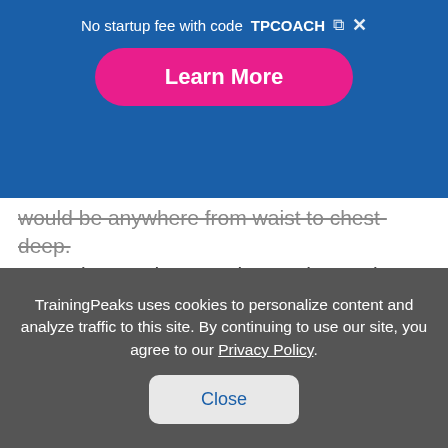No startup fee with code TPCOACH
Learn More
would be anywhere from waist to chest-deep. Lower impact than running on the roads makes this a great option, particularly to prevent injuries rather than to cure an injury. I love running in chest-deep water, one reason being you can swivel your head and see what's happening around you
TrainingPeaks uses cookies to personalize content and analyze traffic to this site. By continuing to use our site, you agree to our Privacy Policy.
Close